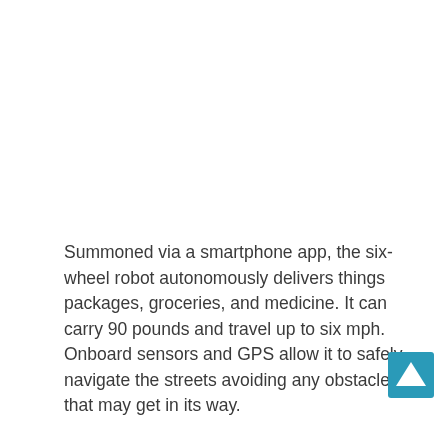Summoned via a smartphone app, the six-wheel robot autonomously delivers things packages, groceries, and medicine. It can carry 90 pounds and travel up to six mph. Onboard sensors and GPS allow it to safely navigate the streets avoiding any obstacles that may get in its way.
Lasting about 12 hours one charge, the yellow delivery robot can work day and night in all types of weather. Using the app, customers can see RoboPony's location. Owners can take control of the robot remotely if need be.
[Figure (photo): Street scene with a person and a building facade, partially visible at the bottom of the page. A small red circular icon is visible at the lower left.]